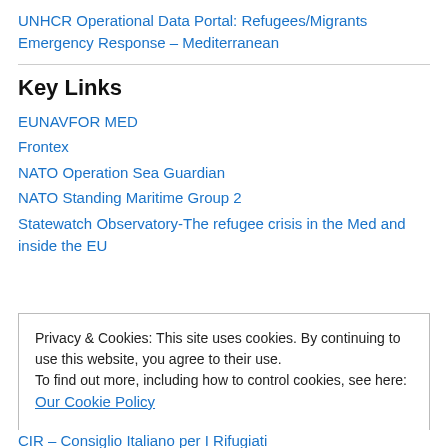UNHCR Operational Data Portal: Refugees/Migrants Emergency Response – Mediterranean
Key Links
EUNAVFOR MED
Frontex
NATO Operation Sea Guardian
NATO Standing Maritime Group 2
Statewatch Observatory-The refugee crisis in the Med and inside the EU
Privacy & Cookies: This site uses cookies. By continuing to use this website, you agree to their use. To find out more, including how to control cookies, see here: Our Cookie Policy
Close and accept
CIR – Consiglio Italiano per I Rifugiati